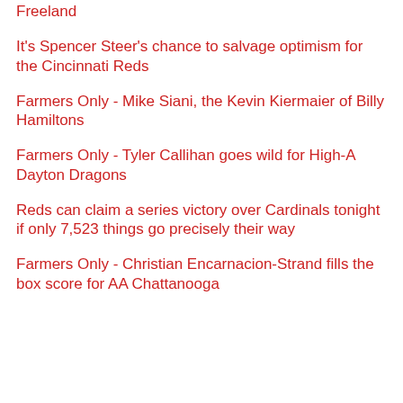Freeland
It's Spencer Steer's chance to salvage optimism for the Cincinnati Reds
Farmers Only - Mike Siani, the Kevin Kiermaier of Billy Hamiltons
Farmers Only - Tyler Callihan goes wild for High-A Dayton Dragons
Reds can claim a series victory over Cardinals tonight if only 7,523 things go precisely their way
Farmers Only - Christian Encarnacion-Strand fills the box score for AA Chattanooga